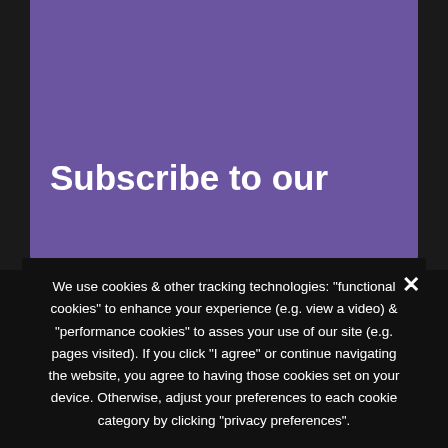Subscribe to our
We use cookies & other tracking technologies: "functional cookies" to enhance your experience (e.g. view a video) & "performance cookies" to asses your use of our site (e.g. pages visited). If you click "I agree" or continue navigating the website, you agree to having those cookies set on your device. Otherwise, adjust your preferences to each cookie category by clicking "privacy preferences".
Privacy Preferences
I Agree